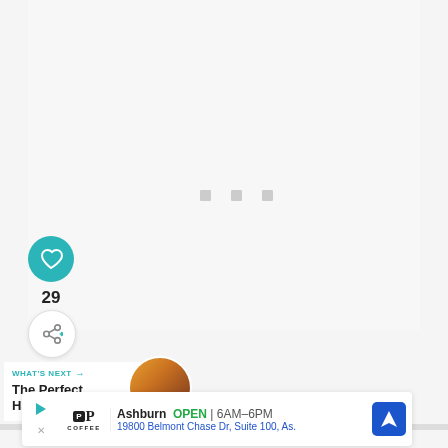[Figure (screenshot): Loading indicator with three small gray squares centered in a light gray content area]
[Figure (infographic): Teal circular heart/like button with count 29 below it, and a share button]
29
WHAT'S NEXT → The Perfect Hawaii...
[Figure (photo): Circular thumbnail image for next article about Hawaii]
Ashburn OPEN | 6AM–6PM 19800 Belmont Chase Dr, Suite 100, As.